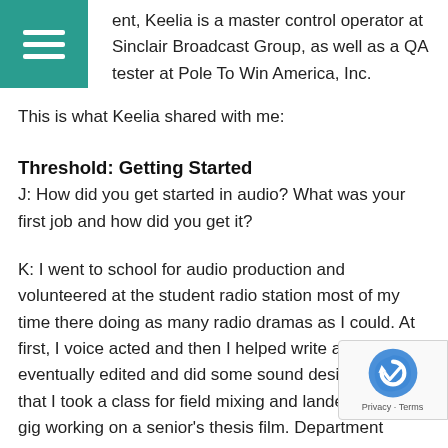ent, Keelia is a master control operator at Sinclair Broadcast Group, as well as a QA tester at Pole To Win America, Inc.
This is what Keelia shared with me:
Threshold: Getting Started
J: How did you get started in audio? What was your first job and how did you get it?
K: I went to school for audio production and volunteered at the student radio station most of my time there doing as many radio dramas as I could. At first, I voice acted and then I helped write and then I eventually edited and did some sound design. After that I took a class for field mixing and landed a studio gig working on a senior's thesis film. Department